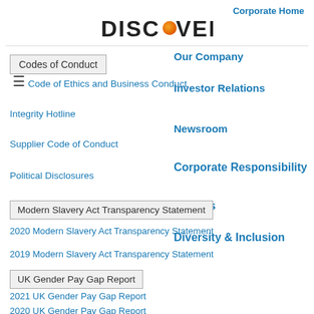Corporate Home
[Figure (logo): Discover Financial Services logo with orange dot replacing letter O]
Our Company
Codes of Conduct
Investor Relations
Code of Ethics and Business Conduct
Newsroom
Integrity Hotline
Corporate Responsibility
Supplier Code of Conduct
Careers
Political Disclosures
Diversity & Inclusion
Modern Slavery Act Transparency Statement
2020 Modern Slavery Act Transparency Statement
2019 Modern Slavery Act Transparency Statement
UK Gender Pay Gap Report
2021 UK Gender Pay Gap Report
2020 UK Gender Pay Gap Report